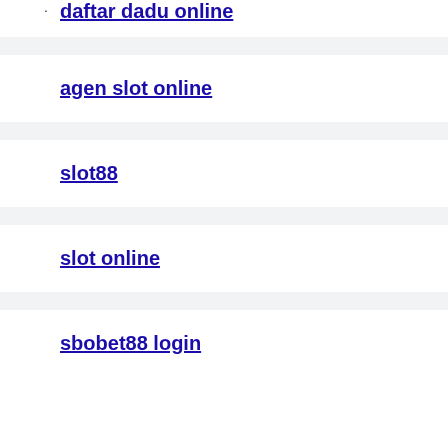daftar dadu online
agen slot online
slot88
slot online
sbobet88 login